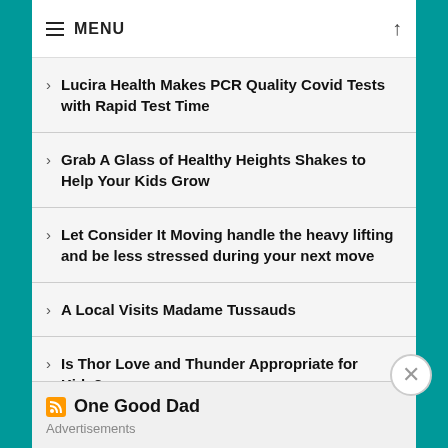MENU
Lucira Health Makes PCR Quality Covid Tests with Rapid Test Time
Grab A Glass of Healthy Heights Shakes to Help Your Kids Grow
Let Consider It Moving handle the heavy lifting and be less stressed during your next move
A Local Visits Madame Tussauds
Is Thor Love and Thunder Appropriate for Kids?
One Good Dad
Advertisements